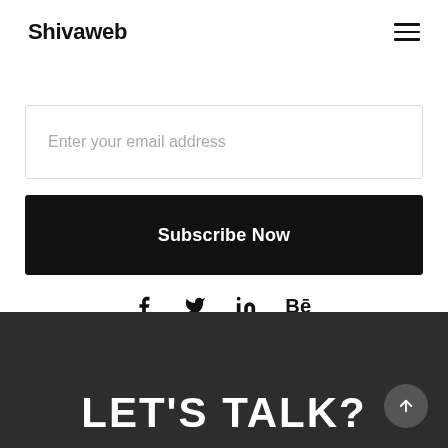Shivaweb
Enter your email address
Subscribe Now
[Figure (infographic): Social media icons: Facebook (f), Twitter (bird), LinkedIn (in), Behance (Be)]
LET'S TALK?